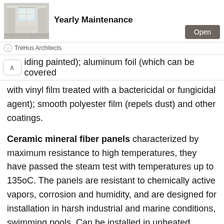[Figure (screenshot): Advertisement banner for 'Yearly Maintenance' by TreHus Architects, showing a room interior photo on the left, bold title text in the center, and an 'Open' button on the right.]
iding painted); aluminum foil (which can be covered with vinyl film treated with a bactericidal or fungicidal agent); smooth polyester film (repels dust) and other coatings.
Ceramic mineral fiber panels characterized by maximum resistance to high temperatures, they have passed the steam test with temperatures up to 135oC. The panels are resistant to chemically active vapors, corrosion and humidity, and are designed for installation in harsh industrial and marine conditions, swimming pools. Can be installed in unheated rooms. They consist of cellulosic and mineral fibers, special
They consist of cellulosic and mineral fibers, special